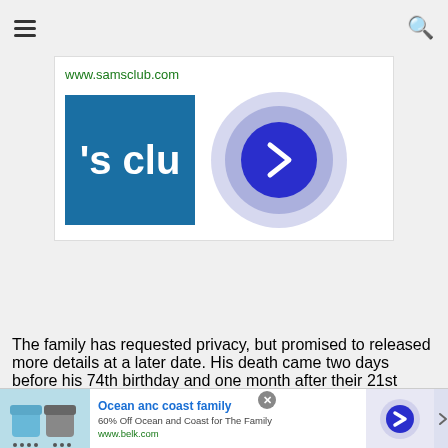Navigation header with hamburger menu and search icon
[Figure (screenshot): Sam's Club advertisement banner showing the Sam's Club logo ('s clu partial text on blue background) with a circular navigation button (blue arrow on concentric purple/lavender circles). URL www.samsclub.com shown above.]
The family has requested privacy, but promised to released more details at a later date. His death came two days before his 74th birthday and one month after their 21st wedding anniversary Dec. 17.
[Figure (screenshot): Advertisement banner for 'Ocean anc coast family' - 60% Off Ocean and Coast for The Family, www.belk.com, with clothing image and circular arrow button on lavender background.]